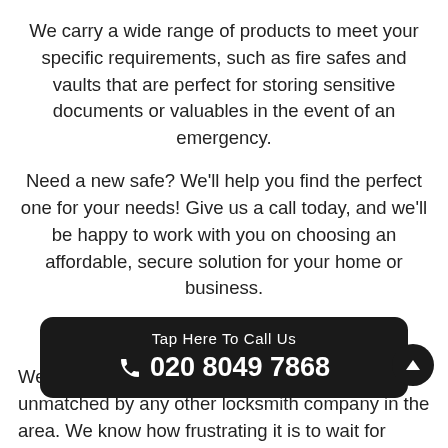We carry a wide range of products to meet your specific requirements, such as fire safes and vaults that are perfect for storing sensitive documents or valuables in the event of an emergency.
Need a new safe? We'll help you find the perfect one for your needs! Give us a call today, and we'll be happy to work with you on choosing an affordable, secure solution for your home or business.
Fast Response Times
We offer guaranteed response times that are unmatched by any other locksmith company in the area. We know how frustrating it is to wait for hours only to fi... of service o... ll!
Tap Here To Call Us
☎ 020 8049 7868